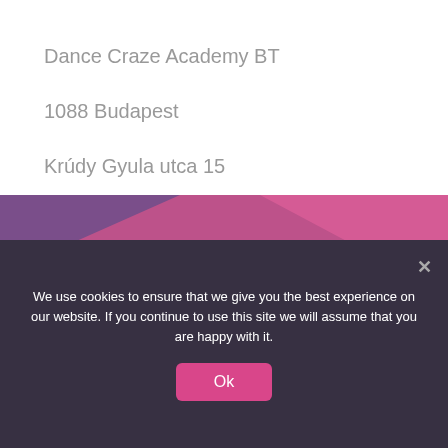Dance Craze Academy BT
1088 Budapest
Krúdy Gyula utca 15
[Figure (illustration): Decorative diagonal pink and purple gradient shapes forming a background graphic section]
Contact Us
We use cookies to ensure that we give you the best experience on our website. If you continue to use this site we will assume that you are happy with it.